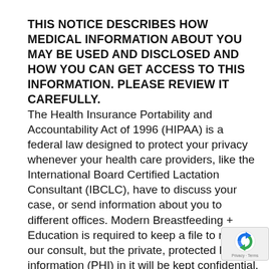THIS NOTICE DESCRIBES HOW MEDICAL INFORMATION ABOUT YOU MAY BE USED AND DISCLOSED AND HOW YOU CAN GET ACCESS TO THIS INFORMATION. PLEASE REVIEW IT CAREFULLY.
The Health Insurance Portability and Accountability Act of 1996 (HIPAA) is a federal law designed to protect your privacy whenever your health care providers, like the International Board Certified Lactation Consultant (IBCLC), have to discuss your case, or send information about you to different offices. Modern Breastfeeding + Education is required to keep a file to record our consult, but the private, protected health information (PHI) in it will be kept confidential. IBCLCs within the Modern Breastfeeding + Education group can freely share all the details of